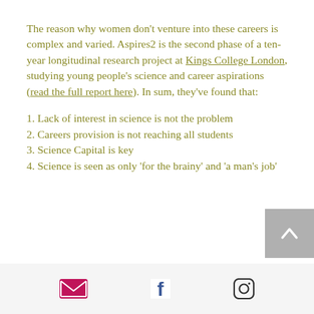The reason why women don't venture into these careers is complex and varied. Aspires2 is the second phase of a ten-year longitudinal research project at Kings College London, studying young people's science and career aspirations (read the full report here). In sum, they've found that:
1. Lack of interest in science is not the problem
2. Careers provision is not reaching all students
3. Science Capital is key
4. Science is seen as only 'for the brainy' and 'a man's job'
Email, Facebook, Instagram social media icons